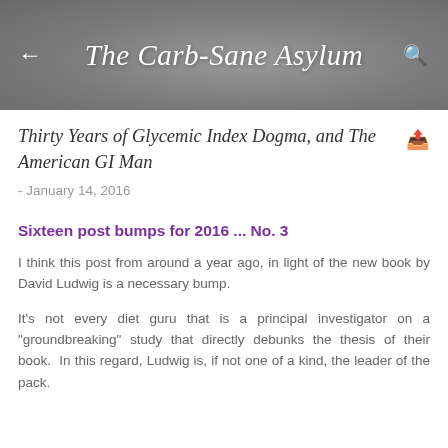The Carb-Sane Asylum
Thirty Years of Glycemic Index Dogma, and The American GI Man
- January 14, 2016
Sixteen post bumps for 2016 ... No. 3
I think this post from around a year ago, in light of the new book by David Ludwig is a necessary bump.
It's not every diet guru that is a principal investigator on a "groundbreaking" study that directly debunks the thesis of their book.  In this regard, Ludwig is, if not one of a kind, the leader of the pack.